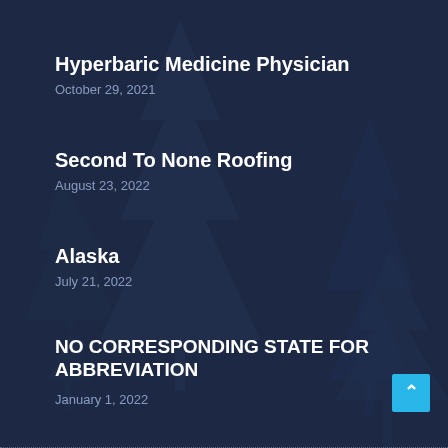Hyperbaric Medicine Physician
October 29, 2021
Second To None Roofing
August 23, 2022
Alaska
July 21, 2022
NO CORRESPONDING STATE FOR ABBREVIATION
January 1, 2022